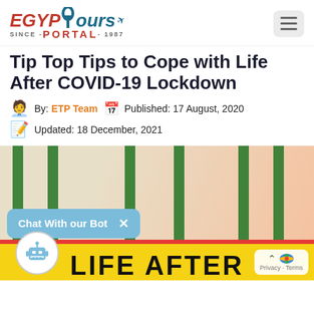[Figure (logo): Egypt Tours Portal logo with ankh symbol and airplane, 'SINCE-PORTAL-1987' tagline]
Tip Top Tips to Cope with Life After COVID-19 Lockdown
By: ETP Team  Published: 17 August, 2020
Updated: 18 December, 2021
[Figure (photo): Photo showing green metal bars/gate structure with a yellow sign reading 'LIFE AFTER' at the bottom, overlaid with a chat bot widget and privacy/terms overlay]